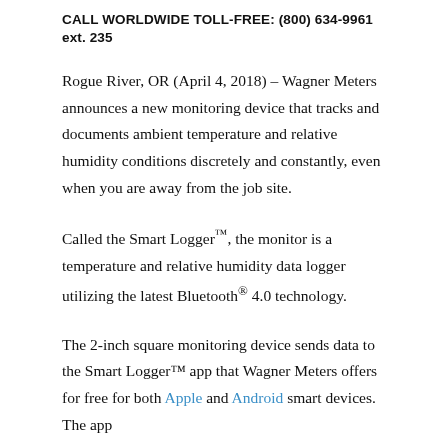CALL WORLDWIDE TOLL-FREE: (800) 634-9961 ext. 235
Rogue River, OR (April 4, 2018) – Wagner Meters announces a new monitoring device that tracks and documents ambient temperature and relative humidity conditions discretely and constantly, even when you are away from the job site.
Called the Smart Logger™, the monitor is a temperature and relative humidity data logger utilizing the latest Bluetooth® 4.0 technology.
The 2-inch square monitoring device sends data to the Smart Logger™ app that Wagner Meters offers for free for both Apple and Android smart devices. The app